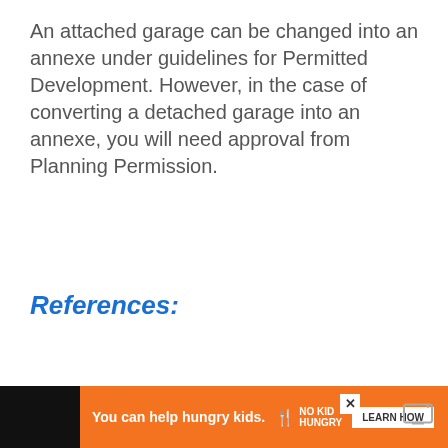An attached garage can be changed into an annexe under guidelines for Permitted Development. However, in the case of converting a detached garage into an annexe, you will need approval from Planning Permission.
References:
Annexes and Council Tax
[Figure (other): Advertisement banner: orange background with 'You can help hungry kids.' text, No Kid Hungry logo, and LEARN HOW button on dark background]